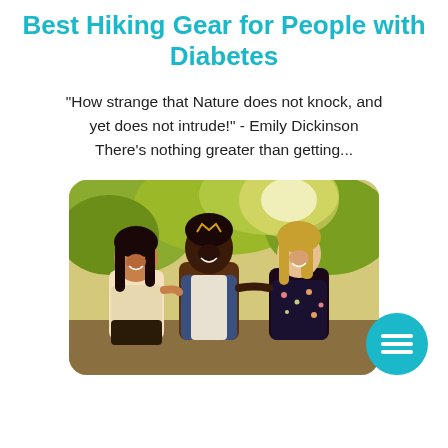Best Hiking Gear for People with Diabetes
"How strange that Nature does not knock, and yet does not intrude!" - Emily Dickinson There's nothing greater than getting...
[Figure (photo): Three young women outdoors smiling and hugging, with trees and sunlight in the background.]